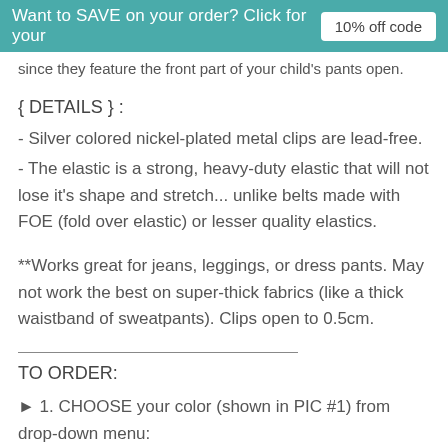Want to SAVE on your order? Click for your   10% off code
since they feature the front part of your child's pants open.
{ DETAILS } :
- Silver colored nickel-plated metal clips are lead-free.
- The elastic is a strong, heavy-duty elastic that will not lose it's shape and stretch... unlike belts made with FOE (fold over elastic) or lesser quality elastics.
**Works great for jeans, leggings, or dress pants. May not work the best on super-thick fabrics (like a thick waistband of sweatpants). Clips open to 0.5cm.
TO ORDER:
► 1. CHOOSE your color (shown in PIC #1) from drop-down menu:
Black